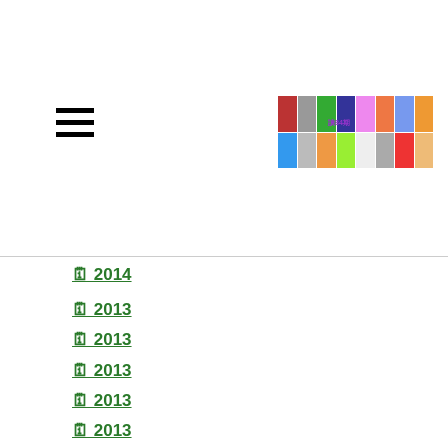[Figure (illustration): Hamburger menu icon (three horizontal lines)]
[Figure (illustration): Banner image collage with multiple colorful photo tiles and Chinese text overlay]
月份 2014
月份 2013
月份 2013
月份 2013
月份 2013
月份 2013
月份 2013
月份 2012
月份 2012
月份 2012
月份 2012
月份 2012
月份 2012
月份 2012
月份月份 2011
月份月份 2011
月份 2011
月份 2011
月份 2011